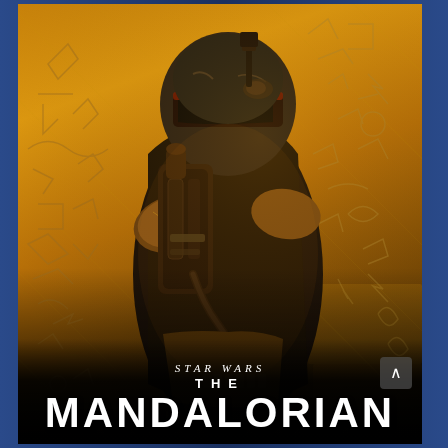[Figure (illustration): Star Wars: The Mandalorian promotional poster featuring Boba Fett in full Mandalorian armor with jetpack, seen from behind/side angle, against a golden/amber background with graffiti-like wall markings. Text at bottom reads 'STAR WARS / THE / MANDALORIAN' in white.]